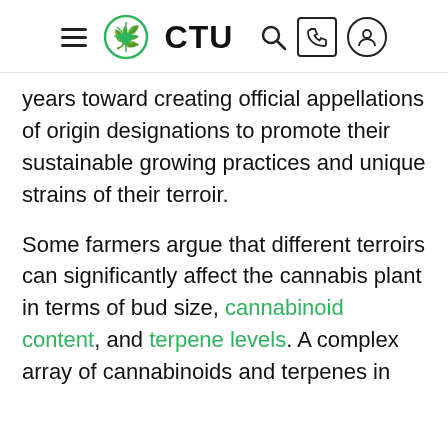CTU
years toward creating official appellations of origin designations to promote their sustainable growing practices and unique strains of their terroir.
Some farmers argue that different terroirs can significantly affect the cannabis plant in terms of bud size, cannabinoid content, and terpene levels. A complex array of cannabinoids and terpenes in